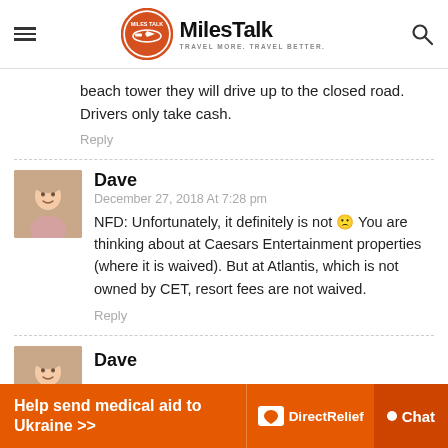MilesTalk — TRAVEL MORE. TRAVEL BETTER.
beach tower they will drive up to the closed road. Drivers only take cash.
Reply
Dave
December 27, 2018 At 7:28 pm
NFD: Unfortunately, it definitely is not 🙁 You are thinking about at Caesars Entertainment properties (where it is waived). But at Atlantis, which is not owned by CET, resort fees are not waived.
Reply
Dave
[Figure (infographic): Help send medical aid to Ukraine advertisement banner with Direct Relief logo and Chat button]